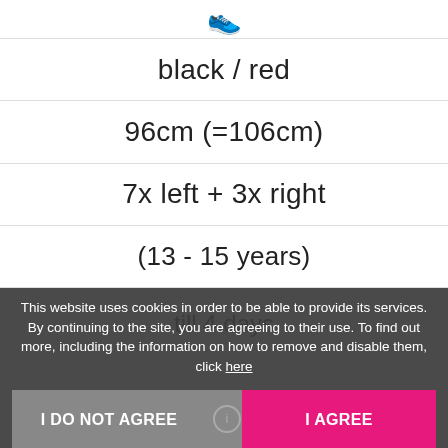[Figure (illustration): Shoe/sneaker emoji icon at the top of the page]
black / red
96cm (=106cm)
7x left + 3x right
(13 - 15 years)
till 4 days
This website uses cookies in order to be able to provide its services. By continuing to the site, you are agreeing to their use. To find out more, including the information on how to remove and disable them, click here
I DO NOT AGREE
I AGREE